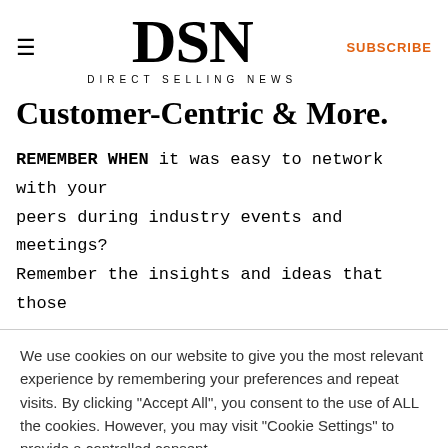≡  DSN  DIRECT SELLING NEWS  SUBSCRIBE
Customer-Centric & More.
REMEMBER WHEN it was easy to network with your peers during industry events and meetings? Remember the insights and ideas that those
We use cookies on our website to give you the most relevant experience by remembering your preferences and repeat visits. By clicking "Accept All", you consent to the use of ALL the cookies. However, you may visit "Cookie Settings" to provide a controlled consent.